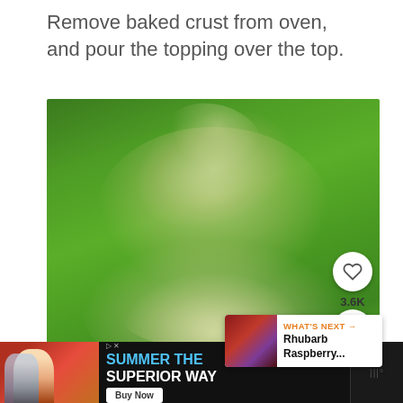Remove baked crust from oven, and pour the topping over the top.
[Figure (photo): Close-up photo of a green mixing bowl with a creamy/buttery batter swirled inside, photographed from above on a countertop surface. A heart/save button and 3.6K count and share button are overlaid on the right side. A 'WHAT'S NEXT' card shows 'Rhubarb Raspberry...' teaser.]
[Figure (photo): Advertisement banner at the bottom: dark background with a person holding beer bottles on the left, text 'SUMMER THE SUPERIOR WAY' in white/blue, a 'Buy Now' button, close button, and a temperature/weather icon on the far right.]